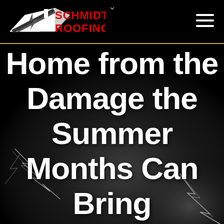[Figure (logo): Schmidt Roofing logo with red text and white roof/house graphic on black background]
Home from the Damage the Summer Months Can Bring